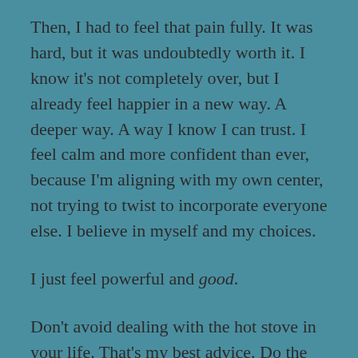Then, I had to feel that pain fully. It was hard, but it was undoubtedly worth it. I know it's not completely over, but I already feel happier in a new way. A deeper way. A way I know I can trust. I feel calm and more confident than ever, because I'm aligning with my own center, not trying to twist to incorporate everyone else. I believe in myself and my choices.

I just feel powerful and good.

Don't avoid dealing with the hot stove in your life. That's my best advice. Do the hard stuff as soon as you know it needs to be done and have some strength and support. Support makes a huge difference and can come in so many forms. Find it, and make those changes. You can do it. You can shift. You can grow